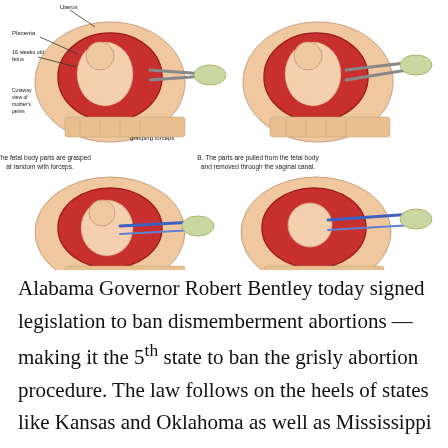[Figure (illustration): Medical illustration showing four panels (A, B, C, D) depicting a surgical abortion procedure with labeled anatomical parts and instruments including forceps. Panel A: fetal body parts are grasped at random with forceps. Panel B: the parts are pulled from the fetal body and removed through the vaginal canal. Panel C: the remaining body parts are grasped and pulled out. Panel D: the head is grasped with forceps, crushed and then removed through the vaginal canal.]
Alabama Governor Robert Bentley today signed legislation to ban dismemberment abortions — making it the 5th state to ban the grisly abortion procedure. The law follows on the heels of states like Kansas and Oklahoma as well as Mississippi and Louisiana — where bans have are been approved or